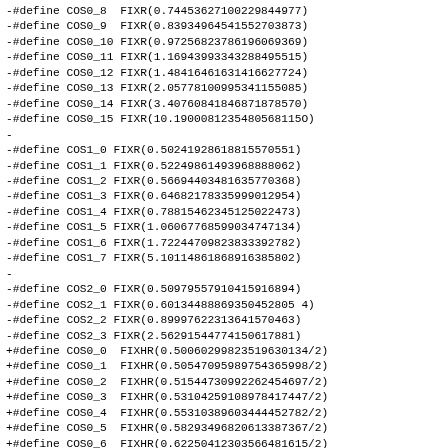-#define COS0_8  FIXR(0.74453627100229844977)
-#define COS0_9  FIXR(0.83934964541552703873)
-#define COS0_10 FIXR(0.97256823786196069369)
-#define COS0_11 FIXR(1.16943993343288495515)
-#define COS0_12 FIXR(1.48416461631416627724)
-#define COS0_13 FIXR(2.05778100995341155085)
-#define COS0_14 FIXR(3.40760841846871878570)
-#define COS0_15 FIXR(10.1900081235480568115O)
-
-#define COS1_0 FIXR(0.50241928618815570551)
-#define COS1_1 FIXR(0.52249861493968888062)
-#define COS1_2 FIXR(0.56694403481635770368)
-#define COS1_3 FIXR(0.64682178335999012954)
-#define COS1_4 FIXR(0.78815462345125022473)
-#define COS1_5 FIXR(1.06067768599034747134)
-#define COS1_6 FIXR(1.72244709823833392782)
-#define COS1_7 FIXR(5.10114861868916385802)
-
-#define COS2_0 FIXR(0.50979557910415916894)
-#define COS2_1 FIXR(0.60134488869350452805 4)
-#define COS2_2 FIXR(0.89997622313641570463)
-#define COS2_3 FIXR(2.56291544774150617881)
+#define COS0_0  FIXHR(0.50060299823519630134/2)
+#define COS0_1  FIXHR(0.50547095989754365998/2)
+#define COS0_2  FIXHR(0.51544730992262454697/2)
+#define COS0_3  FIXHR(0.53104259108978417447/2)
+#define COS0_4  FIXHR(0.55310389603444452782/2)
+#define COS0_5  FIXHR(0.58293496820613387367/2)
+#define COS0_6  FIXHR(0.62250412303566481615/2)
+#define COS0_7  FIXHR(0.67480834145500574602/2)